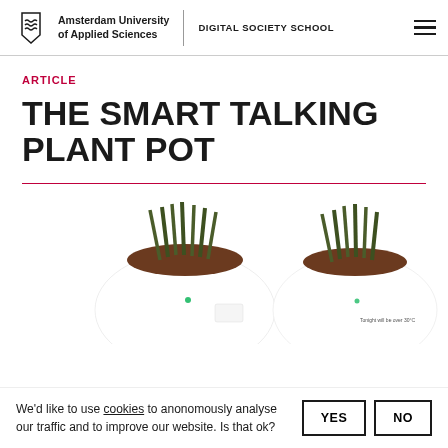Amsterdam University of Applied Sciences | DIGITAL SOCIETY SCHOOL
ARTICLE
THE SMART TALKING PLANT POT
[Figure (photo): Two white rounded smart plant pots with green grass-like plants growing out of dark soil, photographed on a white background. The right pot shows a small display screen with text.]
We'd like to use cookies to anonomously analyse our traffic and to improve our website. Is that ok?